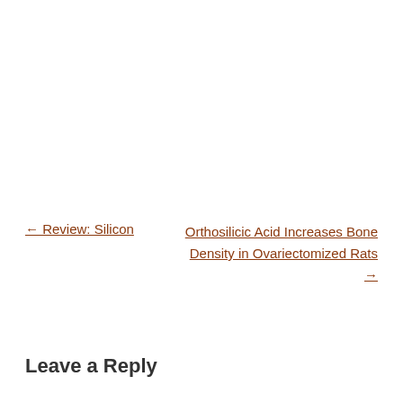← Review: Silicon
Orthosilicic Acid Increases Bone Density in Ovariectomized Rats →
Leave a Reply